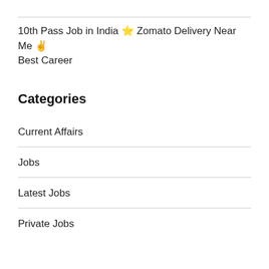10th Pass Job in India ⭐ Zomato Delivery Near Me ✌️ Best Career
Categories
Current Affairs
Jobs
Latest Jobs
Private Jobs